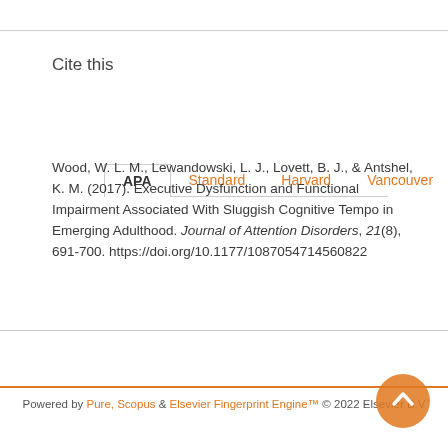Cite this
APA   Standard   Harvard   Vancouver   ...
Wood, W. L. M., Lewandowski, L. J., Lovett, B. J., & Antshel, K. M. (2017). Executive Dysfunction and Functional Impairment Associated With Sluggish Cognitive Tempo in Emerging Adulthood. Journal of Attention Disorders, 21(8), 691-700. https://doi.org/10.1177/1087054714560822
Powered by Pure, Scopus & Elsevier Fingerprint Engine™ © 2022 Elsevier B.V